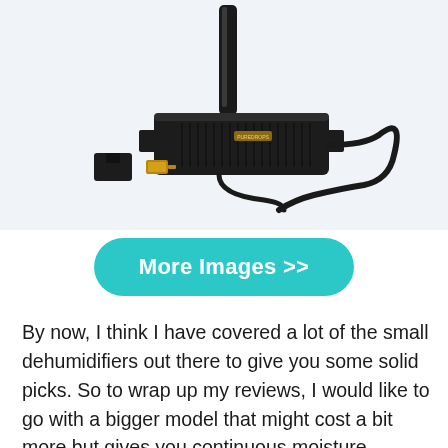[Figure (photo): A black electronic dehumidifier device with a vertical rod/antenna, a rectangular base unit with ventilation grilles, a power cord, and two small connector accessories placed next to it, on a white background.]
More Images >>
By now, I think I have covered a lot of the small dehumidifiers out there to give you some solid picks. So to wrap up my reviews, I would like to go with a bigger model that might cost a bit more but gives you continuous moisture control. This option by